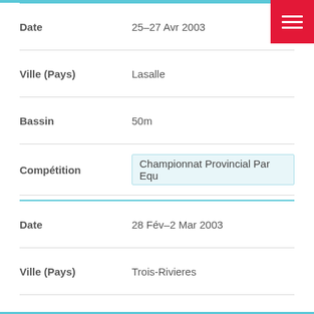| Field | Value |
| --- | --- |
| Date | 25–27 Avr 2003 |
| Ville (Pays) | Lasalle |
| Bassin | 50m |
| Compétition | Championnat Provincial Par Equ |
| Field | Value |
| --- | --- |
| Date | 28 Fév–2 Mar 2003 |
| Ville (Pays) | Trois-Rivieres |
| Bassin | 25m |
| Compétition | Championnat Provincial Groupes |